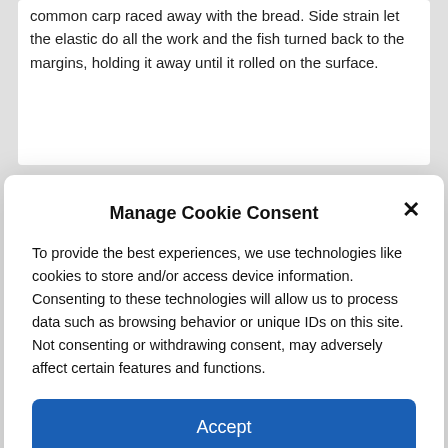common carp raced away with the bread. Side strain let the elastic do all the work and the fish turned back to the margins, holding it away until it rolled on the surface.
Manage Cookie Consent
To provide the best experiences, we use technologies like cookies to store and/or access device information. Consenting to these technologies will allow us to process data such as browsing behavior or unique IDs on this site. Not consenting or withdrawing consent, may adversely affect certain features and functions.
Accept
Deny
View preferences
Cookie Policy